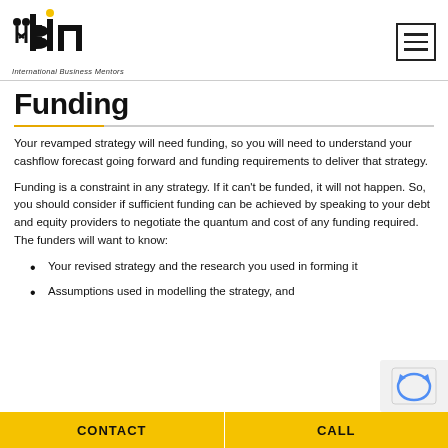ibm International Business Mentors
Funding
Your revamped strategy will need funding, so you will need to understand your cashflow forecast going forward and funding requirements to deliver that strategy.
Funding is a constraint in any strategy. If it can't be funded, it will not happen. So, you should consider if sufficient funding can be achieved by speaking to your debt and equity providers to negotiate the quantum and cost of any funding required. The funders will want to know:
Your revised strategy and the research you used in forming it
Assumptions used in modelling the strategy, and
CONTACT   CALL